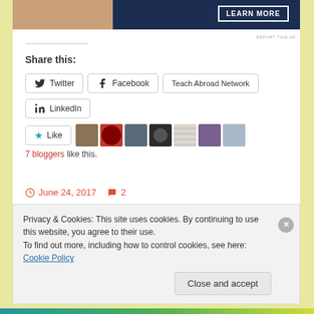[Figure (screenshot): Top portion of an advertisement showing a person and a dark blue panel with LEARN MORE button]
REPORT THIS AD
Share this:
Twitter  Facebook  Teach Abroad Network  LinkedIn
[Figure (other): Like button with star icon and 7 blogger avatar thumbnails]
7 bloggers like this.
June 24, 2017  2
Privacy & Cookies: This site uses cookies. By continuing to use this website, you agree to their use.
To find out more, including how to control cookies, see here: Cookie Policy
Close and accept